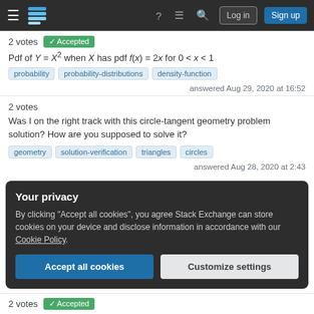Stack Exchange navigation bar with login and sign up buttons
2 votes  Accepted
probability
probability-distributions
density-function
answered Aug 29, 2020 at 16:52
2 votes
Was I on the right track with this circle-tangent geometry problem solution? How are you supposed to solve it?
geometry
solution-verification
triangles
circles
answered Aug 28, 2020 at 2:43
Your privacy
By clicking "Accept all cookies", you agree Stack Exchange can store cookies on your device and disclose information in accordance with our Cookie Policy.
Accept all cookies
Customize settings
2 votes  Accepted